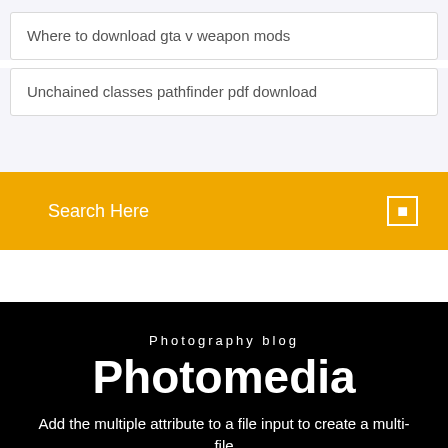Where to download gta v weapon mods
Unchained classes pathfinder pdf download
Search Here
Photography blog
Photomedia
Add the multiple attribute to a file input to create a multi-file